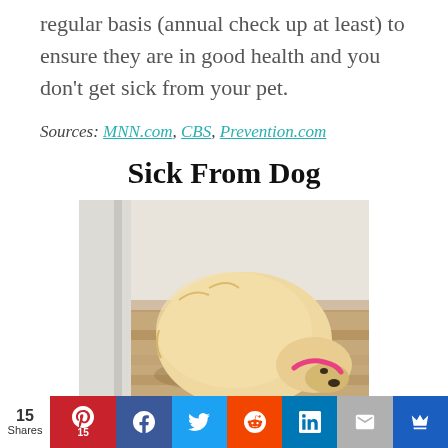regular basis (annual check up at least) to ensure they are in good health and you don't get sick from your pet.
Sources: MNN.com, CBS, Prevention.com
Sick From Dog
[Figure (photo): A light-colored dog curled up sleeping on wooden stairs near a white baseboard, wearing a pink collar.]
15 Shares | Pinterest 15 | Facebook | Twitter | Reddit | LinkedIn | Email | Crown